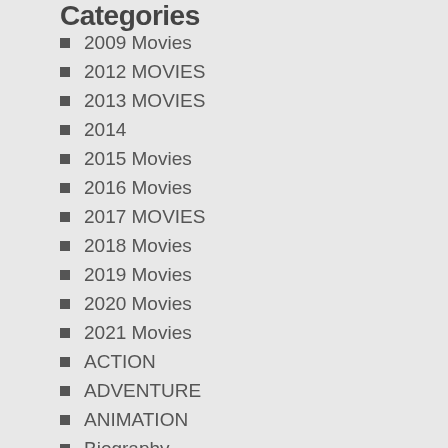Categories
2009 Movies
2012 MOVIES
2013 MOVIES
2014
2015 Movies
2016 Movies
2017 MOVIES
2018 Movies
2019 Movies
2020 Movies
2021 Movies
ACTION
ADVENTURE
ANIMATION
Biography
BOLLYWOOD